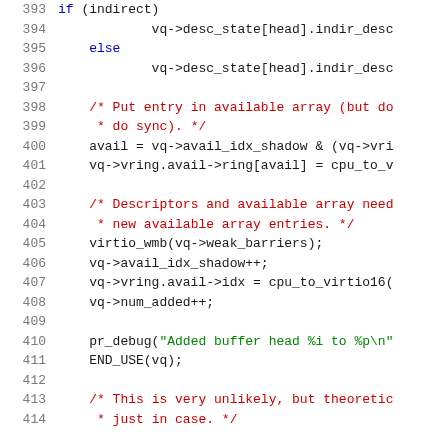[Figure (screenshot): Source code listing showing lines 393-414 of a C program related to virtio queue management. Lines include conditional logic, comments in red, string literals in green, and code in black/blue.]